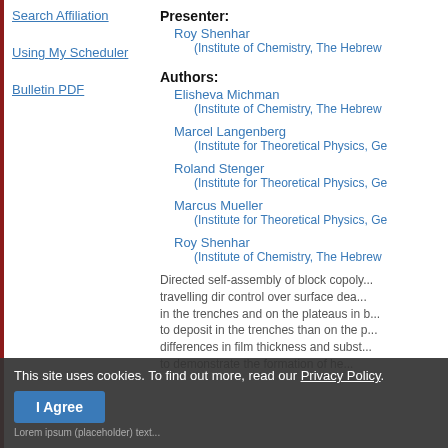Search Affiliation
Using My Scheduler
Bulletin PDF
Presenter: Roy Shenhar (Institute of Chemistry, The Hebrew
Authors: Elisheva Michman (Institute of Chemistry, The Hebrew
Marcel Langenberg (Institute for Theoretical Physics, Ge
Roland Stenger (Institute for Theoretical Physics, Ge
Marcus Mueller (Institute for Theoretical Physics, Ge
Roy Shenhar (Institute of Chemistry, The Hebrew
Directed self-assembly of block copoly... travelling dir control over surface dea... in the trenches and on the plateaus in b... to deposit in the trenches than on the p... differences in film thickness and subst... to demonstrate the formation of he...
This site uses cookies. To find out more, read our Privacy Policy.